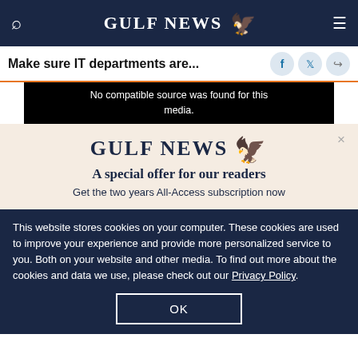GULF NEWS
Make sure IT departments are...
[Figure (screenshot): Black video player area showing 'No compatible source was found for this media.']
[Figure (screenshot): Gulf News subscription overlay on beige background with close button, logo, headline 'A special offer for our readers', and text 'Get the two years All-Access subscription now']
This website stores cookies on your computer. These cookies are used to improve your experience and provide more personalized service to you. Both on your website and other media. To find out more about the cookies and data we use, please check out our Privacy Policy.
OK